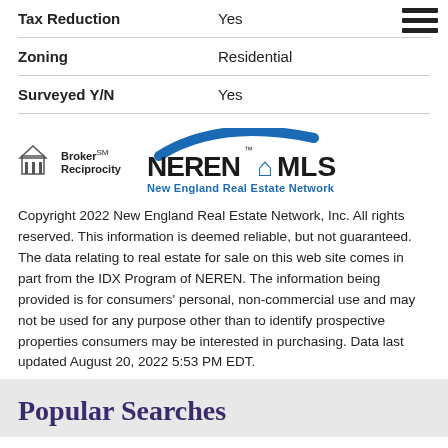| Property | Value |
| --- | --- |
| Tax Reduction | Yes |
| Zoning | Residential |
| Surveyed Y/N | Yes |
[Figure (logo): Broker Reciprocity logo and NEREN MLS New England Real Estate Network logo]
Copyright 2022 New England Real Estate Network, Inc. All rights reserved. This information is deemed reliable, but not guaranteed. The data relating to real estate for sale on this web site comes in part from the IDX Program of NEREN. The information being provided is for consumers' personal, non-commercial use and may not be used for any purpose other than to identify prospective properties consumers may be interested in purchasing. Data last updated August 20, 2022 5:53 PM EDT.
Popular Searches